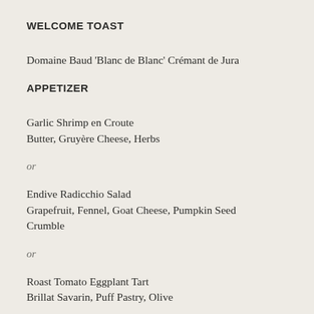WELCOME TOAST
Domaine Baud 'Blanc de Blanc' Crémant de Jura
APPETIZER
Garlic Shrimp en Croute
Butter, Gruyère Cheese, Herbs
or
Endive Radicchio Salad
Grapefruit, Fennel, Goat Cheese, Pumpkin Seed Crumble
or
Roast Tomato Eggplant Tart
Brillat Savarin, Puff Pastry, Olive
MAIN COURSE